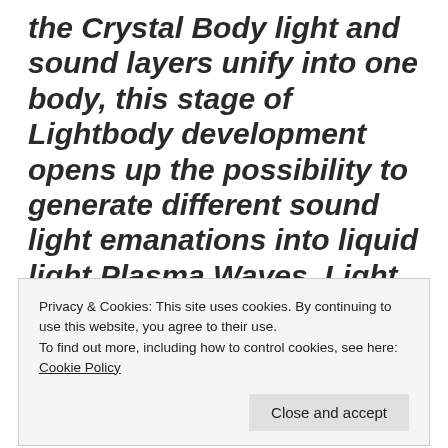the Crystal Body light and sound layers unify into one body, this stage of Lightbody development opens up the possibility to generate different sound light emanations into liquid light Plasma Waves. Light symbol codes program and direct the consciousness energy within the fabric of light and sound grids that
Privacy & Cookies: This site uses cookies. By continuing to use this website, you agree to their use.
To find out more, including how to control cookies, see here: Cookie Policy
Close and accept
transmissions to stop or prevent